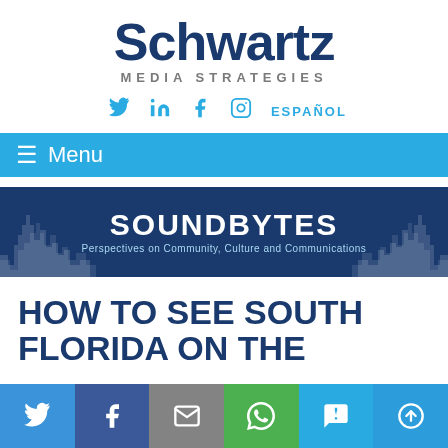[Figure (logo): Schwartz Media Strategies logo - large dark blue bold 'Schwartz' text with 'MEDIA STRATEGIES' subtitle in gray]
𝕏  in  f  📷  ESPAÑOL
≡ Menu
[Figure (logo): Soundbytes banner with city skyline silhouette on dark navy background. Title: SOUNDBYTES. Subtitle: Perspectives on Community, Culture and Communications]
HOW TO SEE SOUTH FLORIDA ON THE
[Figure (infographic): Bottom social share bar with Twitter (blue), Facebook (dark blue), Email (gray), WhatsApp (green), SMS (light blue), Share (blue) buttons]